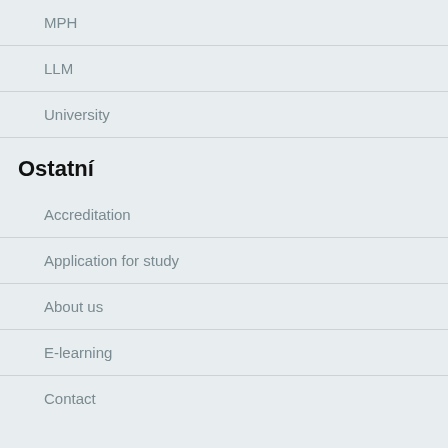MPH
LLM
University
Ostatní
Accreditation
Application for study
About us
E-learning
Contact